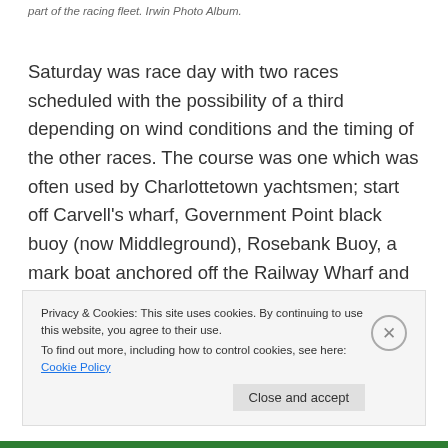part of the racing fleet. Irwin Photo Album.
Saturday was race day with two races scheduled with the possibility of a third depending on wind conditions and the timing of the other races. The course was one which was often used by Charlottetown yachtsmen; start off Carvell’s wharf, Government Point black buoy (now Middleground), Rosebank Buoy, a mark boat anchored off the Railway Wharf and the finish line at Carvell’s. To
Privacy & Cookies: This site uses cookies. By continuing to use this website, you agree to their use.
To find out more, including how to control cookies, see here: Cookie Policy